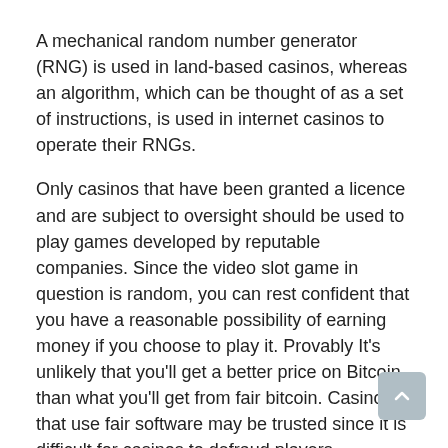A mechanical random number generator (RNG) is used in land-based casinos, whereas an algorithm, which can be thought of as a set of instructions, is used in internet casinos to operate their RNGs.
Only casinos that have been granted a licence and are subject to oversight should be used to play games developed by reputable companies. Since the video slot game in question is random, you can rest confident that you have a reasonable possibility of earning money if you choose to play it. Provably It's unlikely that you'll get a better price on Bitcoin than what you'll get from fair bitcoin. Casinos that use fair software may be trusted since it is difficult for casinos to defraud players.
The House Edge must be considered together with the Return on Investment (RTI).
Each slot machine in a casino is subjected to the same